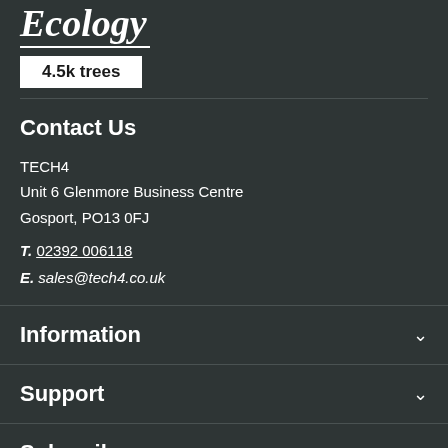[Figure (logo): Ecology logo in script/cursive white text with underline and '4.5k trees' badge below]
Contact Us
TECH4
Unit 6 Glenmore Business Centre
Gosport, PO13 0FJ
T. 02392 006118
E. sales@tech4.co.uk
Information
Support
Subscribe